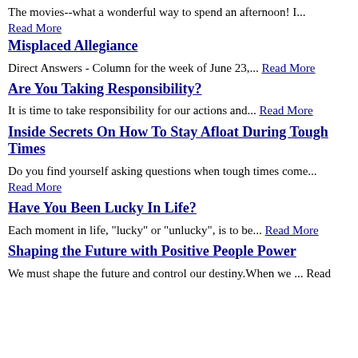The movies--what a wonderful way to spend an afternoon! I... Read More
Misplaced Allegiance
Direct Answers - Column for the week of June 23,... Read More
Are You Taking Responsibility?
It is time to take responsibility for our actions and... Read More
Inside Secrets On How To Stay Afloat During Tough Times
Do you find yourself asking questions when tough times come... Read More
Have You Been Lucky In Life?
Each moment in life, "lucky" or "unlucky", is to be... Read More
Shaping the Future with Positive People Power
We must shape the future and control our destiny.When we... Read